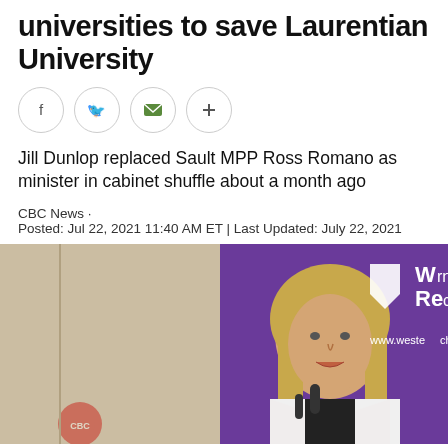universities to save Laurentian University
[Figure (other): Social share buttons row: Facebook, Twitter, Email, More (+)]
Jill Dunlop replaced Sault MPP Ross Romano as minister in cabinet shuffle about a month ago
CBC News · Posted: Jul 22, 2021 11:40 AM ET | Last Updated: July 22, 2021
[Figure (photo): A woman in a white blazer speaking at a podium with microphones; in the background is a purple Western Research banner with the Western University shield logo and website www.westernresearch.ca]